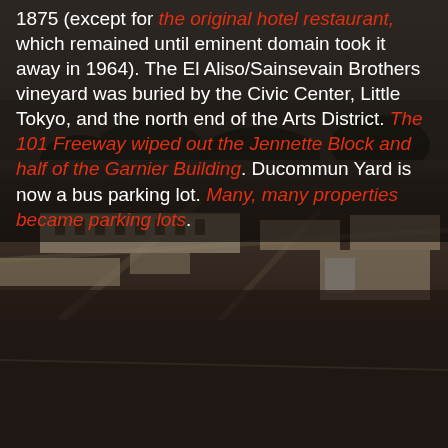1875 (except for the original hotel restaurant, which remained until eminent domain took it away in 1964). The El Aliso/Sainsevain Brothers vineyard was buried by the Civic Center, Little Tokyo, and the north end of the Arts District. The 101 Freeway wiped out the Jennette Block and half of the Garnier Building. Ducommun Yard is now a bus parking lot. Many, many properties became parking lots.
[Figure (photo): Historical black and white aerial photograph of early Los Angeles showing low-rise adobe and wooden buildings spread across a flat landscape with trees and cleared fields.]
[Figure (photo): Lower portion of a sepia-toned historical photograph, mostly dark and indistinct, showing a blurred landscape.]